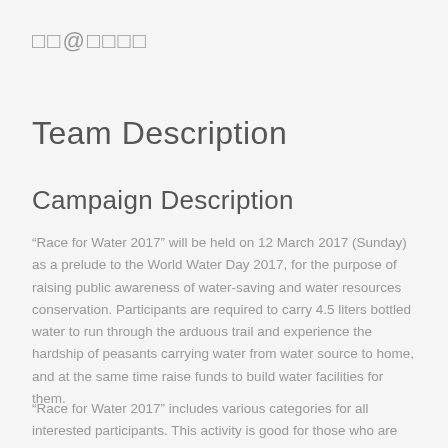□□@□□□□
Team Description
Campaign Description
“Race for Water 2017” will be held on 12 March 2017 (Sunday) as a prelude to the World Water Day 2017, for the purpose of raising public awareness of water-saving and water resources conservation. Participants are required to carry 4.5 liters bottled water to run through the arduous trail and experience the hardship of peasants carrying water from water source to home, and at the same time raise funds to build water facilities for them.
“Race for Water 2017” includes various categories for all interested participants. This activity is good for those who are passionate in